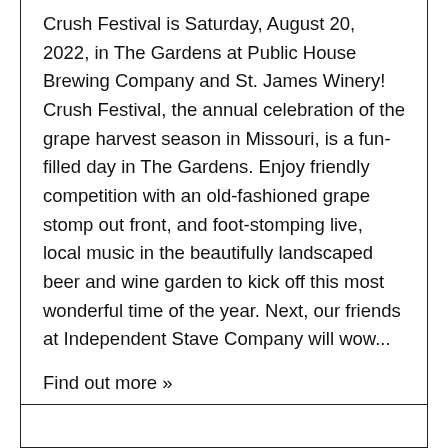Crush Festival is Saturday, August 20, 2022, in The Gardens at Public House Brewing Company and St. James Winery!  Crush Festival, the annual celebration of the grape harvest season in Missouri, is a fun-filled day in The Gardens. Enjoy friendly competition with an old-fashioned grape stomp out front, and foot-stomping live, local music in the beautifully landscaped beer and wine garden to kick off this most wonderful time of the year. Next, our friends at Independent Stave Company will wow...
Find out more »